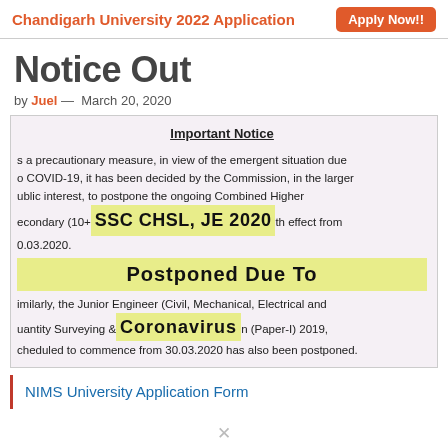Chandigarh University 2022 Application   Apply Now!!
Notice Out
by Juel — March 20, 2020
[Figure (screenshot): Scanned notice document showing 'Important Notice' heading with text about SSC CHSL, JE 2020 postponed due to Coronavirus (COVID-19). Text reads: 'As a precautionary measure, in view of the emergent situation due to COVID-19, it has been decided by the Commission, in the larger public interest, to postpone the ongoing Combined Higher Secondary (10+2) Examination ... with effect from 20.03.2020. Similarly, the Junior Engineer (Civil, Mechanical, Electrical and Quantity Surveying & Contract) Examination (Paper-I) 2019, scheduled to commence from 30.03.2020 has also been postponed.' Overlaid yellow highlight box with text: SSC CHSL, JE 2020 Postponed Due To Coronavirus]
NIMS University Application Form